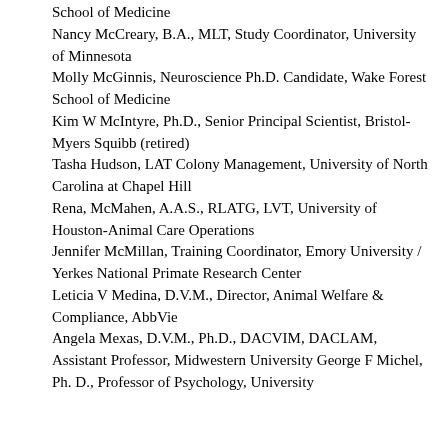School of Medicine
Nancy McCreary, B.A., MLT, Study Coordinator, University of Minnesota
Molly McGinnis, Neuroscience Ph.D. Candidate, Wake Forest School of Medicine
Kim W McIntyre, Ph.D., Senior Principal Scientist, Bristol-Myers Squibb (retired)
Tasha Hudson, LAT Colony Management, University of North Carolina at Chapel Hill
Rena, McMahen, A.A.S., RLATG, LVT, University of Houston-Animal Care Operations
Jennifer McMillan, Training Coordinator, Emory University / Yerkes National Primate Research Center
Leticia V Medina, D.V.M., Director, Animal Welfare & Compliance, AbbVie
Angela Mexas, D.V.M., Ph.D., DACVIM, DACLAM, Assistant Professor, Midwestern University George F Michel, Ph. D., Professor of Psychology, University